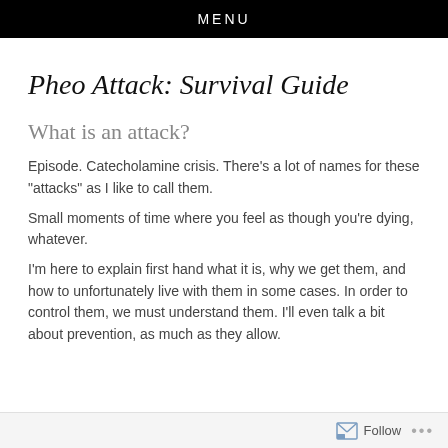MENU
Pheo Attack: Survival Guide
What is an attack?
Episode. Catecholamine crisis. There’s a lot of names for these “attacks” as I like to call them.
Small moments of time where you feel as though you’re dying, whatever.
I’m here to explain first hand what it is, why we get them, and how to unfortunately live with them in some cases. In order to control them, we must understand them. I’ll even talk a bit about prevention, as much as they allow.
Follow